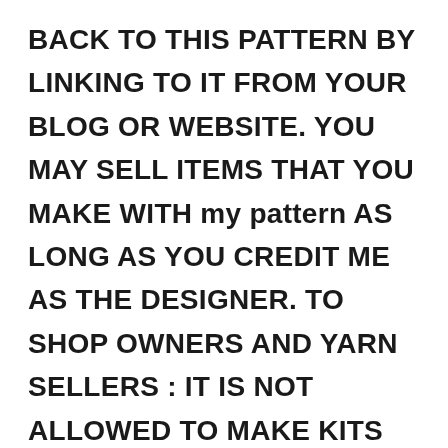BACK TO THIS PATTERN BY LINKING TO IT FROM YOUR BLOG OR WEBSITE. YOU MAY SELL ITEMS THAT YOU MAKE WITH my pattern AS LONG AS YOU CREDIT ME AS THE DESIGNER. TO SHOP OWNERS AND YARN SELLERS : IT IS NOT ALLOWED TO MAKE KITS WITHOUT MY PERMISSION. PLEASE DO NOT PRINT COPIES TO DISTRIBUTE WITH YARN